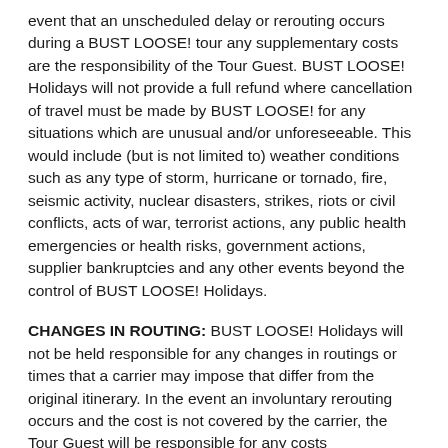event that an unscheduled delay or rerouting occurs during a BUST LOOSE! tour any supplementary costs are the responsibility of the Tour Guest. BUST LOOSE! Holidays will not provide a full refund where cancellation of travel must be made by BUST LOOSE! for any situations which are unusual and/or unforeseeable. This would include (but is not limited to) weather conditions such as any type of storm, hurricane or tornado, fire, seismic activity, nuclear disasters, strikes, riots or civil conflicts, acts of war, terrorist actions, any public health emergencies or health risks, government actions, supplier bankruptcies and any other events beyond the control of BUST LOOSE! Holidays.
CHANGES IN ROUTING: BUST LOOSE! Holidays will not be held responsible for any changes in routings or times that a carrier may impose that differ from the original itinerary. In the event an involuntary rerouting occurs and the cost is not covered by the carrier, the Tour Guest will be responsible for any costs